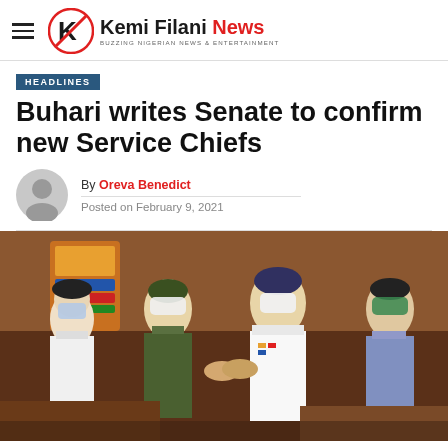Kemi Filani News – BUZZING NIGERIAN NEWS & ENTERTAINMENT
HEADLINES
Buhari writes Senate to confirm new Service Chiefs
By Oreva Benedict
Posted on February 9, 2021
[Figure (photo): Military and police officers in uniform wearing face masks, shaking hands and conversing inside what appears to be a formal meeting room with wooden decor.]